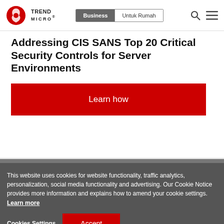Trend Micro — Business | Untuk Rumah
Addressing CIS SANS Top 20 Critical Security Controls for Server Environments
Learn how
This website uses cookies for website functionality, traffic analytics, personalization, social media functionality and advertising. Our Cookie Notice provides more information and explains how to amend your cookie settings. Learn more
Cookies Settings  Accept